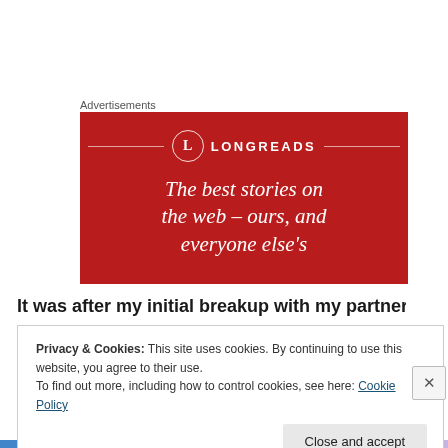Advertisements
[Figure (illustration): Longreads advertisement banner on red background with logo circle containing 'L', brand name 'LONGREADS', and italic tagline text: 'The best stories on the web – ours, and everyone else's']
It was after my initial breakup with my partner that I
Privacy & Cookies: This site uses cookies. By continuing to use this website, you agree to their use.
To find out more, including how to control cookies, see here: Cookie Policy
Close and accept